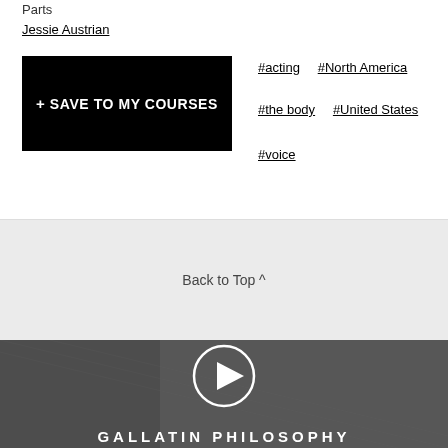Parts
Jessie Austrian
+ SAVE TO MY COURSES
#acting
#North America
#the body
#United States
#voice
Back to Top ^
[Figure (photo): Video thumbnail with a person's face and a circular play button overlay, and the text GALLATIN PHILOSOPHY at the bottom]